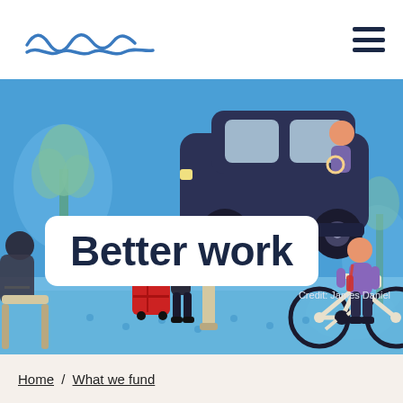Nuffield Foundation logo and navigation menu
[Figure (illustration): Colorful flat illustration showing an urban street scene with a dark navy London cab driven by a person, a person on a bicycle, a person with a red suitcase, and trees and blue background. Illustration by James Daniel.]
Better work
Credit: James Daniel
Home / What we fund